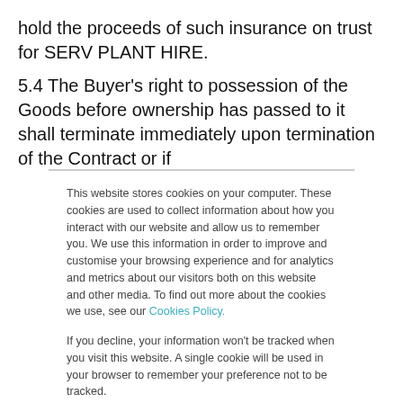hold the proceeds of such insurance on trust for SERV PLANT HIRE.
5.4 The Buyer's right to possession of the Goods before ownership has passed to it shall terminate immediately upon termination of the Contract or if
This website stores cookies on your computer. These cookies are used to collect information about how you interact with our website and allow us to remember you. We use this information in order to improve and customise your browsing experience and for analytics and metrics about our visitors both on this website and other media. To find out more about the cookies we use, see our Cookies Policy.
If you decline, your information won't be tracked when you visit this website. A single cookie will be used in your browser to remember your preference not to be tracked.